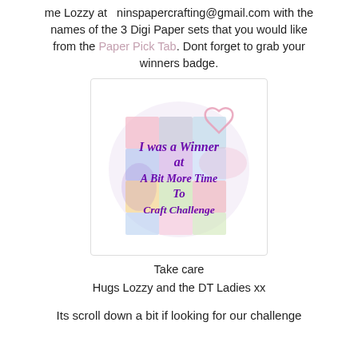me Lozzy at ninspapercrafting@gmail.com with the names of the 3 Digi Paper sets that you would like from the Paper Pick Tab. Dont forget to grab your winners badge.
[Figure (illustration): A circular badge with colorful patchwork squares (pink, purple, yellow, teal, gray) and purple cursive text reading 'I was a Winner at A Bit More Time To Craft Challenge', with a small pink heart outline at the top right.]
Take care
Hugs Lozzy and the DT Ladies xx
Its scroll down a bit if looking for our challenge